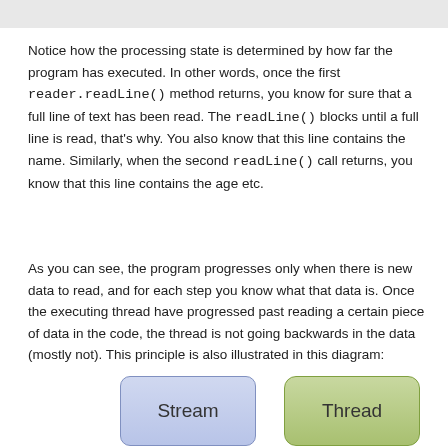Notice how the processing state is determined by how far the program has executed. In other words, once the first reader.readLine() method returns, you know for sure that a full line of text has been read. The readLine() blocks until a full line is read, that's why. You also know that this line contains the name. Similarly, when the second readLine() call returns, you know that this line contains the age etc.
As you can see, the program progresses only when there is new data to read, and for each step you know what that data is. Once the executing thread have progressed past reading a certain piece of data in the code, the thread is not going backwards in the data (mostly not). This principle is also illustrated in this diagram:
[Figure (illustration): Diagram showing two boxes: 'Stream' (blue-gray rounded rectangle) and 'Thread' (green rounded rectangle)]